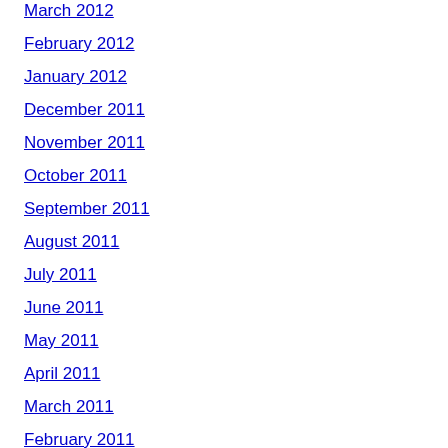March 2012
February 2012
January 2012
December 2011
November 2011
October 2011
September 2011
August 2011
July 2011
June 2011
May 2011
April 2011
March 2011
February 2011
January 2011
December 2010
November 2010
October 2010
September 2010